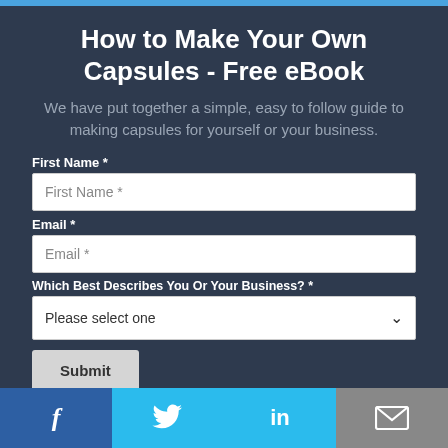How to Make Your Own Capsules - Free eBook
We have put together a simple, easy to follow guide to making capsules for yourself or your business.
First Name *
First Name *
Email *
Email *
Which Best Describes You Or Your Business? *
Please select one
Submit